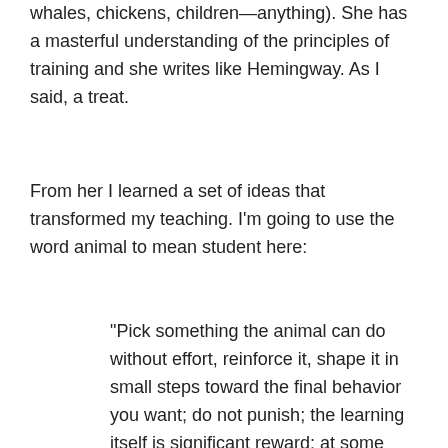whales, chickens, children—anything). She has a masterful understanding of the principles of training and she writes like Hemingway. As I said, a treat.
From her I learned a set of ideas that transformed my teaching. I'm going to use the word animal to mean student here:
“Pick something the animal can do without effort, reinforce it, shape it in small steps toward the final behavior you want; do not punish; the learning itself is significant reward; at some point the animal will grasp the point of the learning and will move ahead as rapidly as possible; stop a training session before the animal is exhausted. Add behaviors one at a